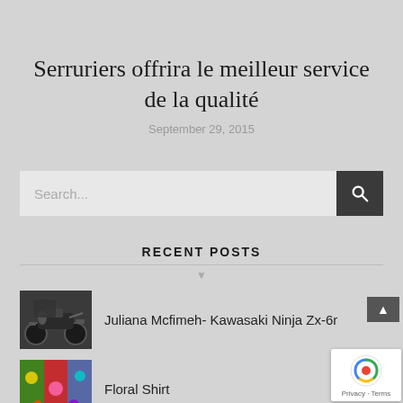Serruriers offrira le meilleur service de la qualité
September 29, 2015
Search...
RECENT POSTS
Juliana Mcfimeh- Kawasaki Ninja Zx-6r
Floral Shirt